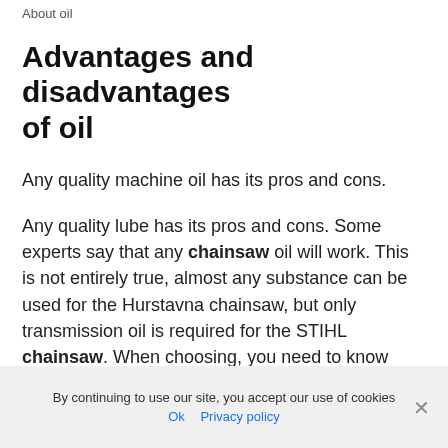About oil
Advantages and disadvantages of oil
Any quality machine oil has its pros and cons.
Any quality lube has its pros and cons. Some experts say that any chainsaw oil will work. This is not entirely true, almost any substance can be used for the Hurstavna chainsaw, but only transmission oil is required for the STIHL chainsaw. When choosing, you need to know
By continuing to use our site, you accept our use of cookies
Ok  Privacy policy